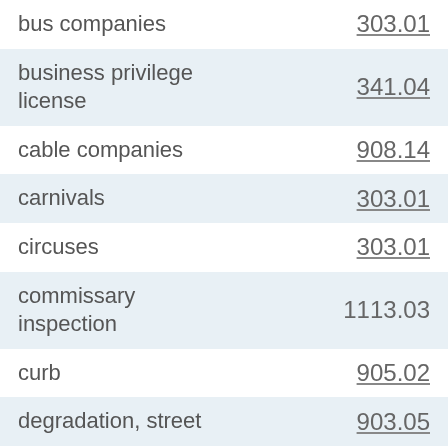| Term | Reference |
| --- | --- |
| bus companies | 303.01 |
| business privilege license | 341.04 |
| cable companies | 908.14 |
| carnivals | 303.01 |
| circuses | 303.01 |
| commissary inspection | 1113.03 |
| curb | 905.02 |
| degradation, street | 903.05 |
| dog carcass, disposition | 709.05 |
| driveway permit | 909.05 |
| electrical permits | 1702.02 |